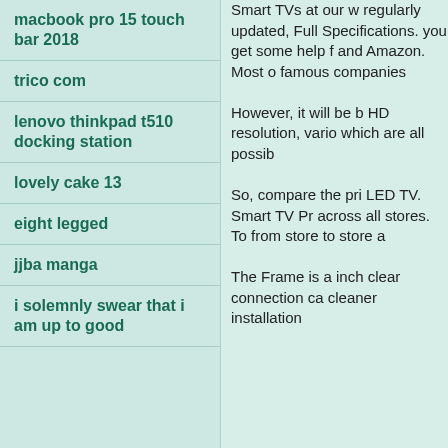macbook pro 15 touch bar 2018
trico com
lenovo thinkpad t510 docking station
lovely cake 13
eight legged
jjba manga
i solemnly swear that i am up to good
Smart TVs at our we regularly updated, Full Specifications. you get some help f and Amazon. Most o famous companies
However, it will be b HD resolution, vario which are all possib
So, compare the pri LED TV. Smart TV Pr across all stores. To from store to store a
The Frame is a inch clear connection ca cleaner installation